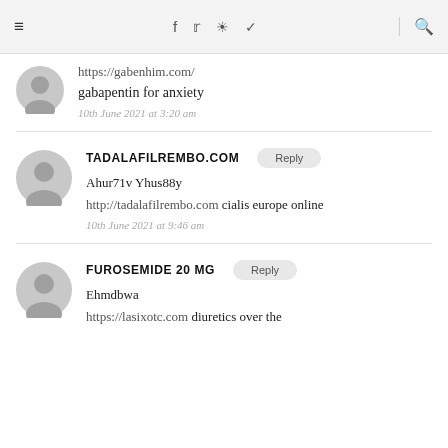☰ f 𝕥 ☷ 𝗣 🔍
https://gabenhim.com/
gabapentin for anxiety
10th June 2021 at 3:20 am
TADALAFILREMBO.COM
Ahur71v Yhus88y
http://tadalafilrembo.com cialis europe online
10th June 2021 at 9:46 am
FUROSEMIDE 20 MG
Ehmdbwa
https://lasixotc.com diuretics over the